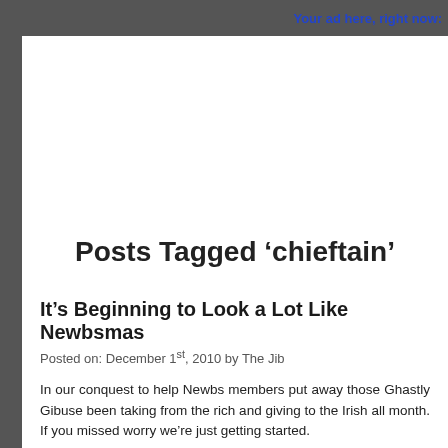Your ad here, right now:
Posts Tagged ‘chieftain’
It’s Beginning to Look a Lot Like Newbsmas
Posted on: December 1st, 2010 by The Jib
In our conquest to help Newbs members put away those Ghastly Gibuse been taking from the rich and giving to the Irish all month. If you missed worry we’re just getting started.